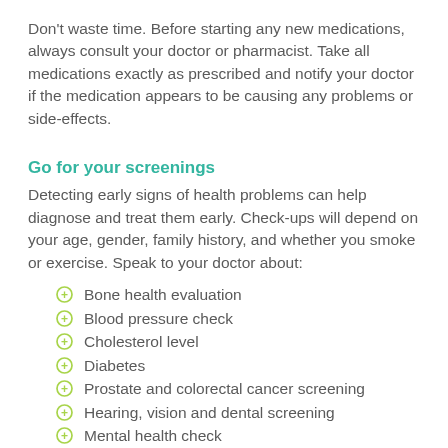Don't waste time. Before starting any new medications, always consult your doctor or pharmacist. Take all medications exactly as prescribed and notify your doctor if the medication appears to be causing any problems or side-effects.
Go for your screenings
Detecting early signs of health problems can help diagnose and treat them early. Check-ups will depend on your age, gender, family history, and whether you smoke or exercise. Speak to your doctor about:
Bone health evaluation
Blood pressure check
Cholesterol level
Diabetes
Prostate and colorectal cancer screening
Hearing, vision and dental screening
Mental health check
Abdominal aortic aneurysm screening: get this